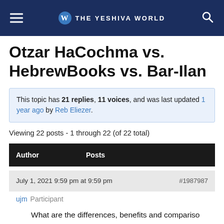THE YESHIVA WORLD
Otzar HaCochma vs. HebrewBooks vs. Bar-Ilan
This topic has 21 replies, 11 voices, and was last updated 1 year ago by Reb Eliezer.
Viewing 22 posts - 1 through 22 (of 22 total)
| Author | Posts |
| --- | --- |
July 1, 2021 9:59 pm at 9:59 pm  #1987987
ujm  Participant
What are the differences, benefits and comparisons between Otzar HaCochma, HebrewBooks and Bar-Ilan Responsa, as well as any other similar or competing